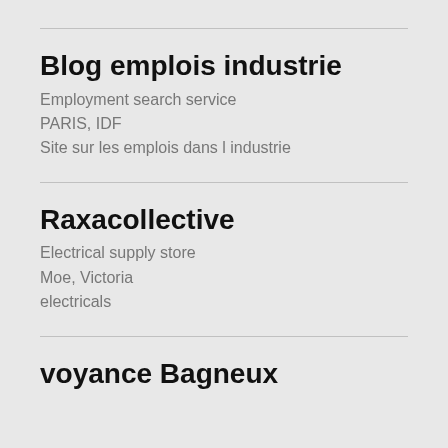Blog emplois industrie
Employment search service
PARIS, IDF
Site sur les emplois dans l industrie
Raxacollective
Electrical supply store
Moe, Victoria
electricals
voyance Bagneux